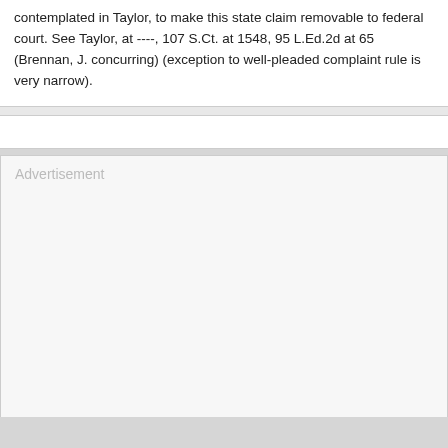contemplated in Taylor, to make this state claim removable to federal court. See Taylor, at ----, 107 S.Ct. at 1548, 95 L.Ed.2d at 65 (Brennan, J. concurring) (exception to well-pleaded complaint rule is very narrow).
[Figure (other): Large advertisement placeholder box with two horizontal divider lines inside]
Home
[Figure (other): Small advertisement placeholder box]
[Figure (other): Thin strip box]